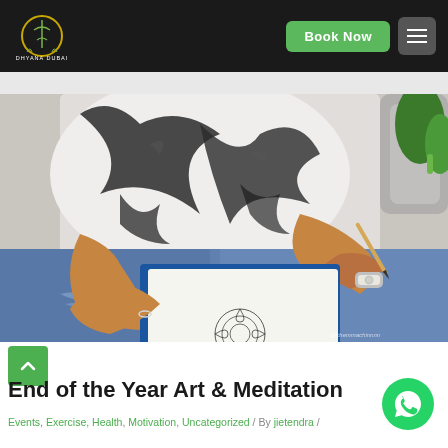Dhyana Dubai — Book Now navigation header
[Figure (photo): Person sitting and drawing a mandala/leaf design in a sketchbook, wearing a black and white abstract print shirt, jeans, and a silver watch. The person holds a pencil. A blue notebook is visible.]
End of the Year Art & Meditation
Events, Exercise, Health, Motivation, Uncategorized / By jietendra /